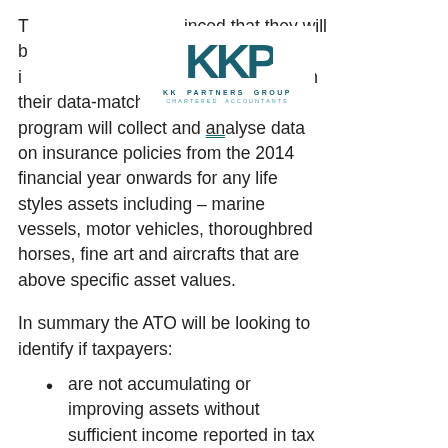[Figure (logo): KK Partners Group Chartered Accountants logo with stylized KP lettermark in teal]
T[...] inced that they will b[...] ax avoidance i[...] estyle assets' with their data-matching program. The program will collect and analyse data on insurance policies from the 2014 financial year onwards for any life styles assets including – marine vessels, motor vehicles, thoroughbred horses, fine art and aircrafts that are above specific asset values.
In summary the ATO will be looking to identify if taxpayers:
are not accumulating or improving assets without sufficient income reported in tax returns,